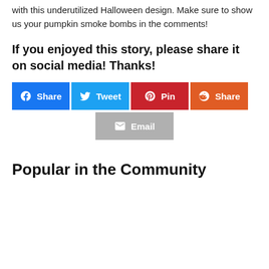with this underutilized Halloween design. Make sure to show us your pumpkin smoke bombs in the comments!
If you enjoyed this story, please share it on social media! Thanks!
[Figure (other): Social share buttons: Facebook Share (blue), Twitter Tweet (light blue), Pinterest Pin (dark red), Reddit Share (orange), Email (gray)]
Popular in the Community